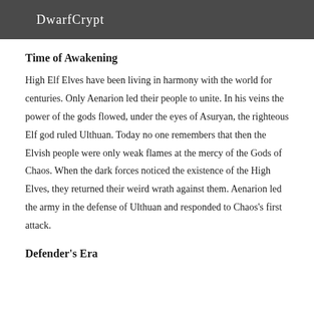DwarfCrypt
Time of Awakening
High Elf Elves have been living in harmony with the world for centuries. Only Aenarion led their people to unite. In his veins the power of the gods flowed, under the eyes of Asuryan, the righteous Elf god ruled Ulthuan. Today no one remembers that then the Elvish people were only weak flames at the mercy of the Gods of Chaos. When the dark forces noticed the existence of the High Elves, they returned their weird wrath against them. Aenarion led the army in the defense of Ulthuan and responded to Chaos's first attack.
Defender's Era